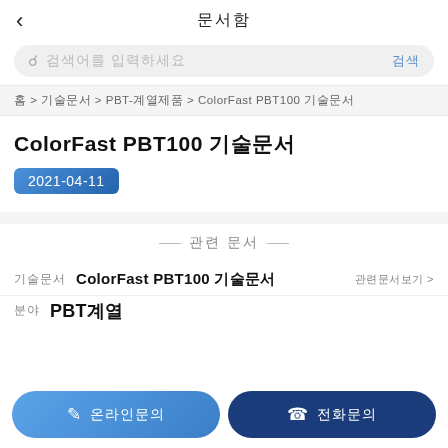< 문서함
검색어를 입력하세요 | 검색
홈 > 기술문서 > PBT-계열제품 > ColorFast PBT100 기술문서
ColorFast PBT100 기술문서
2021-04-11
— 관련 문서 —
기술문서 | ColorFast PBT100 기술문서 | 관련문서보기 >
분야 | PBT계열
✏ 온라인문의 | ☎ 전화문의